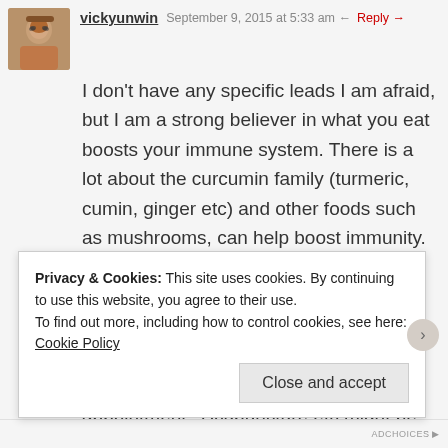vickyunwin  September 9, 2015 at 5:33 am  Reply →
I don't have any specific leads I am afraid, but I am a strong believer in what you eat boosts your immune system. There is a lot about the curcumin family (turmeric, cumin, ginger etc) and other foods such as mushrooms, can help boost immunity. I take daily linzhi mushrooms in tablet form (ganoderma lucidium) obtainable form a Traditional Chinese Medicine doctor. Why don't you try and find a good TCM practitioner and make an appointment? Acupuncture etc might be very helpful, along with the lingzhi. Read around my site a bit more for immunity and google food and immune system, there is a lot if info if you search for it! Good luck!
Privacy & Cookies: This site uses cookies. By continuing to use this website, you agree to their use.
To find out more, including how to control cookies, see here: Cookie Policy
Close and accept